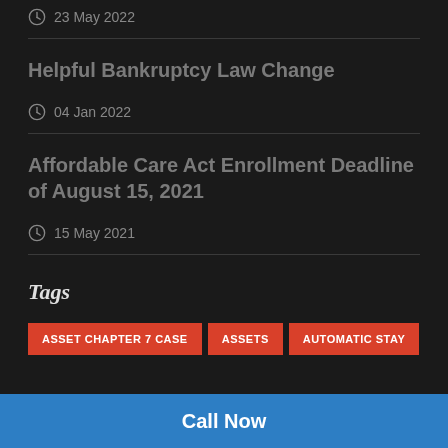23 May 2022
Helpful Bankruptcy Law Change
04 Jan 2022
Affordable Care Act Enrollment Deadline of August 15, 2021
15 May 2021
Tags
ASSET CHAPTER 7 CASE
ASSETS
AUTOMATIC STAY
Call Now